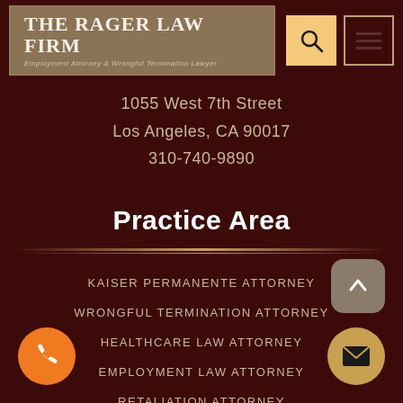THE RAGER LAW FIRM Employment Attorney & Wrongful Termination Lawyer
1055 West 7th Street
Los Angeles, CA 90017
310-740-9890
Practice Area
KAISER PERMANENTE ATTORNEY
WRONGFUL TERMINATION ATTORNEY
HEALTHCARE LAW ATTORNEY
EMPLOYMENT LAW ATTORNEY
RETALIATION ATTORNEY
WAGE FRAUD ATTORNEY